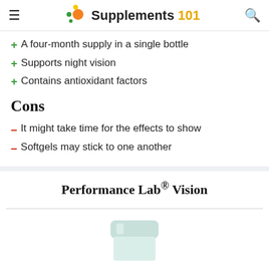Supplements 101
+ A four-month supply in a single bottle
+ Supports night vision
+ Contains antioxidant factors
Cons
– It might take time for the effects to show
– Softgels may stick to one another
Performance Lab® Vision
[Figure (photo): Product bottle image (partially visible)]